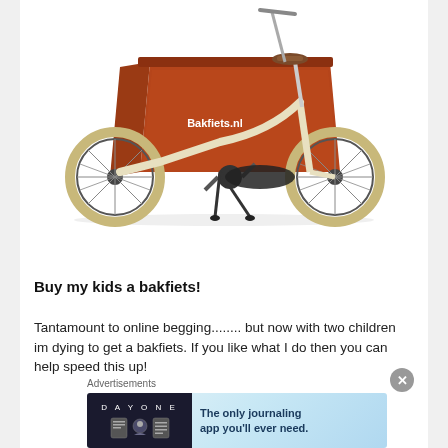[Figure (photo): A cargo bicycle (bakfiets) with cream/beige frame and large rust-orange wooden cargo box in front, labeled 'Bakfiets.nl', photographed on white background with kickstand deployed]
Buy my kids a bakfiets!
Tantamount to online begging........ but now with two children im dying to get a bakfiets. If you like what I do then you can help speed this up!
Advertisements
[Figure (other): Day One journaling app advertisement banner: dark left panel with 'DAY ONE' text and app icons, light blue right panel with text 'The only journaling app you'll ever need.']